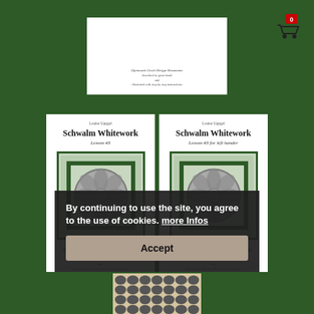[Figure (screenshot): Partial book card visible at top showing Schwalm Whitework with text about Openwork Circle Design Ornaments described in great detail and illustrated with step by step instructions]
[Figure (screenshot): Shopping cart icon with red badge showing 0]
[Figure (screenshot): Book card for Schwalm Whitework Lesson #3 by Louise Uppgel showing circular embroidery design ornament cover image, subtitle Openwork Circle Design Ornaments, described in great detail and illustrated with step by step instructions]
[Figure (screenshot): Book card for Schwalm Whitework Lesson #3 for left hander by Louise Uppgel showing same circular embroidery design ornament cover image, subtitle Openwork Circle Design Ornaments, described in great detail and illustrated with step by step instructions]
By continuing to use the site, you agree to the use of cookies. more Infos
Accept
[Figure (screenshot): Partial bottom product showing cross-stitch or needlework pattern grid]